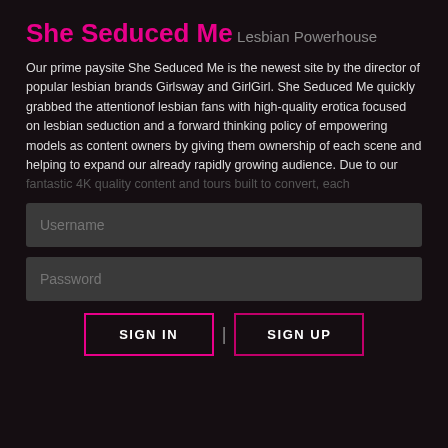She Seduced Me
Lesbian Powerhouse
Our prime paysite She Seduced Me is the newest site by the director of popular lesbian brands Girlsway and GirlGirl. She Seduced Me quickly grabbed the attentionof lesbian fans with high-quality erotica focused on lesbian seduction and a forward thinking policy of empowering models as content owners by giving them ownership of each scene and helping to expand our already rapidly growing audience. Due to our
fantastic 4K quality content and tours built to convert, each
[Figure (screenshot): Username input field with dark background]
[Figure (screenshot): Password input field with dark background]
[Figure (screenshot): SIGN IN and SIGN UP buttons with pink/magenta borders]